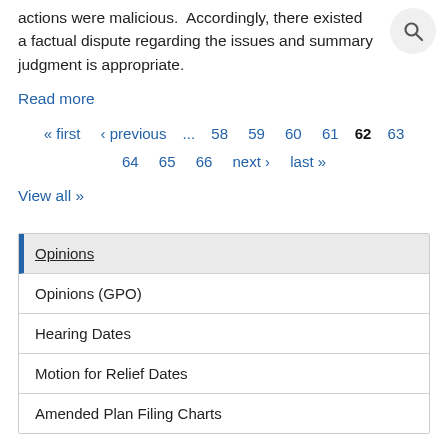actions were malicious. Accordingly, there existed a factual dispute regarding the issues and summary judgment is appropriate.
Read more
« first ‹ previous ... 58 59 60 61 62 63 64 65 66 next › last »
View all »
Opinions
Opinions (GPO)
Hearing Dates
Motion for Relief Dates
Amended Plan Filing Charts